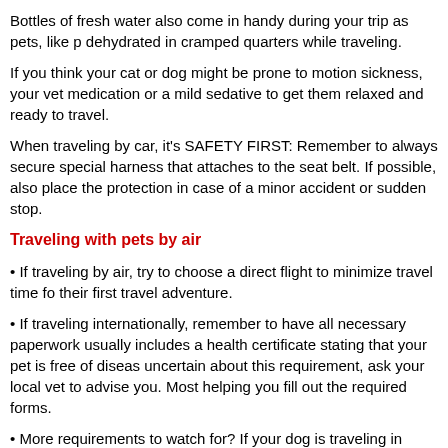Bottles of fresh water also come in handy during your trip as pets, like p dehydrated in cramped quarters while traveling.
If you think your cat or dog might be prone to motion sickness, your vet medication or a mild sedative to get them relaxed and ready to travel.
When traveling by car, it's SAFETY FIRST: Remember to always secure special harness that attaches to the seat belt. If possible, also place the protection in case of a minor accident or sudden stop.
Traveling with pets by air
If traveling by air, try to choose a direct flight to minimize travel time for their first travel adventure.
If traveling internationally, remember to have all necessary paperwork usually includes a health certificate stating that your pet is free of diseas uncertain about this requirement, ask your local vet to advise you. Most helping you fill out the required forms.
More requirements to watch for? If your dog is traveling in cargo, airlin sized pet crate. Also make sure that there is an attachable feeding and w from the outside. (Place dry food in a plastic bag and tape it to the top o